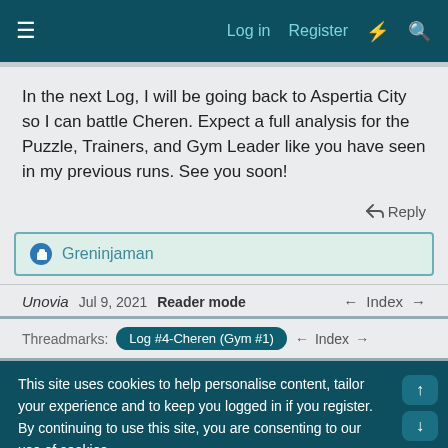Log in  Register
In the next Log, I will be going back to Aspertia City so I can battle Cheren. Expect a full analysis for the Puzzle, Trainers, and Gym Leader like you have seen in my previous runs. See you soon!
↩ Reply
Greninjaman
Unovia  Jul 9, 2021  Reader mode  ← Index →
Threadmarks:  Log #4-Cheren (Gym #1)  ← Index →
This site uses cookies to help personalise content, tailor your experience and to keep you logged in if you register.
By continuing to use this site, you are consenting to our use of cookies.
✓ Accept  Learn more...